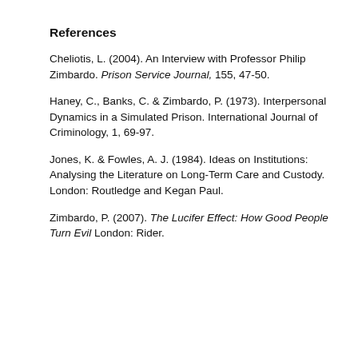References
Cheliotis, L. (2004). An Interview with Professor Philip Zimbardo. Prison Service Journal, 155, 47-50.
Haney, C., Banks, C. & Zimbardo, P. (1973). Interpersonal Dynamics in a Simulated Prison. International Journal of Criminology, 1, 69-97.
Jones, K. & Fowles, A. J. (1984). Ideas on Institutions: Analysing the Literature on Long-Term Care and Custody. London: Routledge and Kegan Paul.
Zimbardo, P. (2007). The Lucifer Effect: How Good People Turn Evil London: Rider.